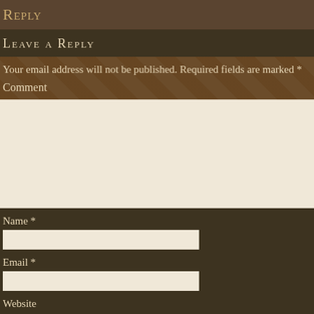Reply
Leave a Reply
Your email address will not be published. Required fields are marked *
Comment
Name *
Email *
Website